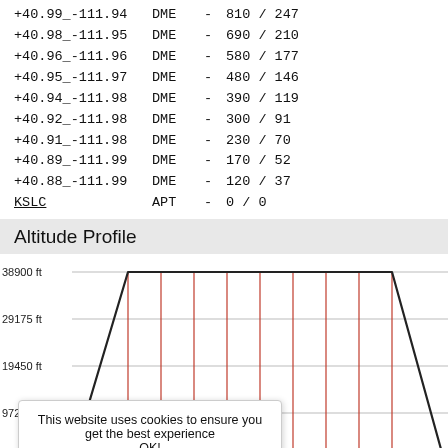| Coordinate | Type | - | Values |
| --- | --- | --- | --- |
| +40.99_-111.94 | DME | - | 810 / 247 |
| +40.98_-111.95 | DME | - | 690 / 210 |
| +40.96_-111.96 | DME | - | 580 / 177 |
| +40.95_-111.97 | DME | - | 480 / 146 |
| +40.94_-111.98 | DME | - | 390 / 119 |
| +40.92_-111.98 | DME | - | 300 / 91 |
| +40.91_-111.98 | DME | - | 230 / 70 |
| +40.89_-111.99 | DME | - | 170 / 52 |
| +40.88_-111.99 | DME | - | 120 / 37 |
| KSLC | APT | - | 0 / 0 |
Altitude Profile
[Figure (continuous-plot): Altitude profile chart showing flight path altitude in feet. The profile rises steeply from near 0 ft to 38900 ft, then holds level at 38900 ft across the middle section, then descends steeply to near 0 ft. Red vertical gridlines mark intermediate waypoints. Y-axis labels: 0 ft, 9725 ft, 19450 ft, 29175 ft, 38900 ft.]
This website uses cookies to ensure you get the best experience OK!